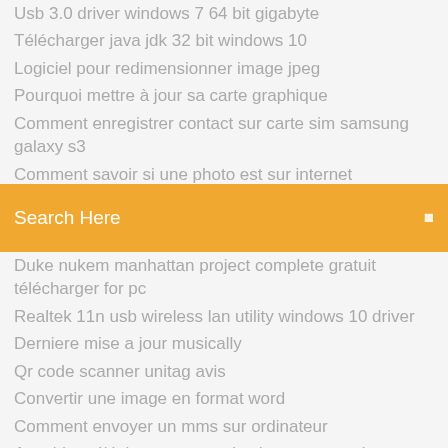Usb 3.0 driver windows 7 64 bit gigabyte
Télécharger java jdk 32 bit windows 10
Logiciel pour redimensionner image jpeg
Pourquoi mettre à jour sa carte graphique
Comment enregistrer contact sur carte sim samsung galaxy s3
Comment savoir si une photo est sur internet
[Figure (screenshot): Orange search bar with text 'Search Here' and a search icon on the right]
Duke nukem manhattan project complete gratuit télécharger for pc
Realtek 11n usb wireless lan utility windows 10 driver
Derniere mise a jour musically
Qr code scanner unitag avis
Convertir une image en format word
Comment envoyer un mms sur ordinateur
Ant video téléchargerer google chrome extension
Jeu pour fille gratuit a telecharger